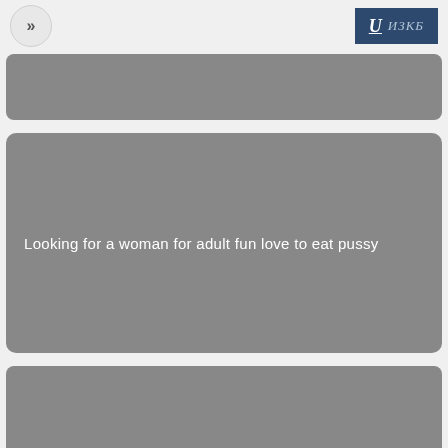»  ИЗКБ
[Figure (screenshot): Gray card block at top, partially visible]
Looking for a woman for adult fun love to eat pussy
[Figure (screenshot): Gray card block at bottom, partially visible]